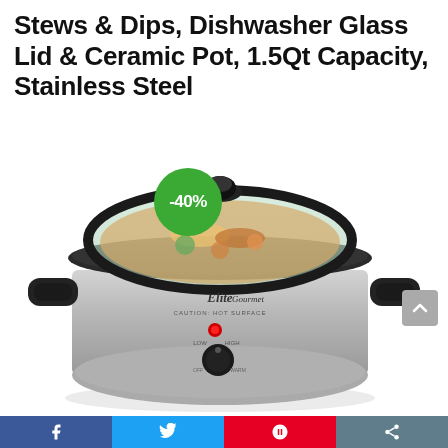Stews & Dips, Dishwasher Glass Lid & Ceramic Pot, 1.5Qt Capacity, Stainless Steel
[Figure (photo): Elite Gourmet mini slow cooker, stainless steel body with black handles, glass lid showing food inside, red indicator light and black control knob visible on front. A green circular badge shows -40% discount.]